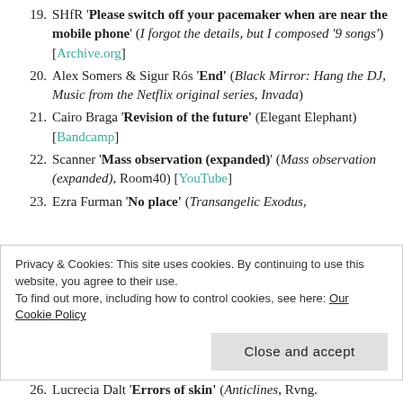19. SHfR 'Please switch off your pacemaker when are near the mobile phone' (I forgot the details, but I composed '9 songs') [Archive.org]
20. Alex Somers & Sigur Rós 'End' (Black Mirror: Hang the DJ, Music from the Netflix original series, Invada)
21. Cairo Braga 'Revision of the future' (Elegant Elephant) [Bandcamp]
22. Scanner 'Mass observation (expanded)' (Mass observation (expanded), Room40) [YouTube]
23. Ezra Furman 'No place' (Transangelic Exodus,
Privacy & Cookies: This site uses cookies. By continuing to use this website, you agree to their use. To find out more, including how to control cookies, see here: Our Cookie Policy
26. Lucrecia Dalt 'Errors of skin' (Anticlines, Rvng.